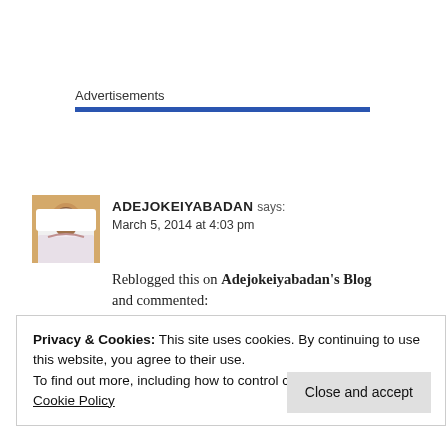Advertisements
ADEJOKEIYABADAN says:
March 5, 2014 at 4:03 pm

Reblogged this on Adejokeiyabadan's Blog and commented:
What a very apt response!!!!!
Privacy & Cookies: This site uses cookies. By continuing to use this website, you agree to their use.
To find out more, including how to control cookies, see here: Cookie Policy